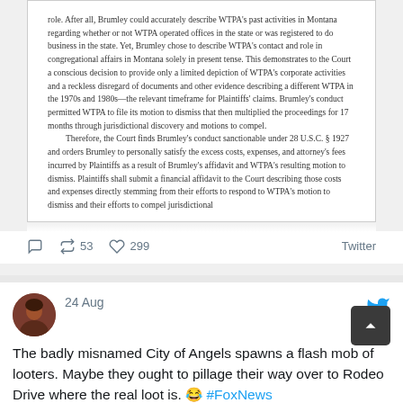[Figure (screenshot): Screenshot of a legal court document showing text about Brumley's conduct being sanctionable under 28 U.S.C. § 1927, with Twitter action buttons (reply, retweet 53, like 299) and Twitter source label below.]
24 Aug
The badly misnamed City of Angels spawns a flash mob of looters. Maybe they ought to pillage their way over to Rodeo Drive where the real loot is. 😂 #FoxNews